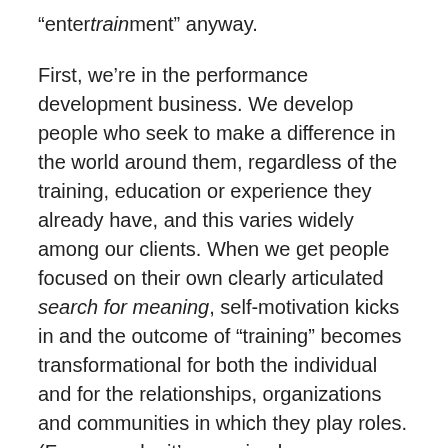“entertrainment” anyway.
First, we’re in the performance development business. We develop people who seek to make a difference in the world around them, regardless of the training, education or experience they already have, and this varies widely among our clients. When we get people focused on their own clearly articulated search for meaning, self-motivation kicks in and the outcome of “training” becomes transformational for both the individual and for the relationships, organizations and communities in which they play roles. (For example, it’s amazing how salespeople sell more once they discover a powerful personal reason for selling more!)
Second, we avoid the “one-hit wonder” approach to learning with our clients, instead providing multiple